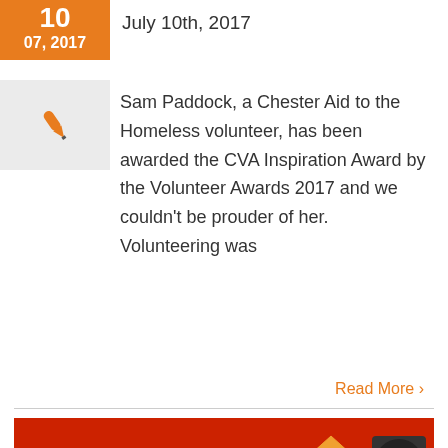July 10th, 2017
[Figure (illustration): Orange pen/quill icon on light gray background]
Sam Paddock, a Chester Aid to the Homeless volunteer, has been awarded the CVA Inspiration Award by the Volunteer Awards 2017 and we couldn't be prouder of her. Volunteering was
Read More >
[Figure (infographic): Art, Cook & Eat - The Culinary Arts advertisement banner for Chester Aid to the Homeless with red background, orange house illustration, and circular logo]